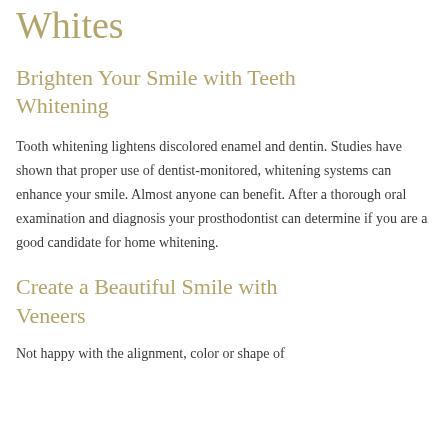Whites
Brighten Your Smile with Teeth Whitening
Tooth whitening lightens discolored enamel and dentin. Studies have shown that proper use of dentist-monitored, whitening systems can enhance your smile. Almost anyone can benefit. After a thorough oral examination and diagnosis your prosthodontist can determine if you are a good candidate for home whitening.
Create a Beautiful Smile with Veneers
Not happy with the alignment, color or shape of